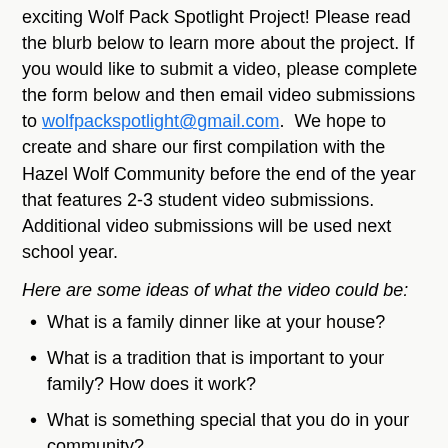exciting Wolf Pack Spotlight Project! Please read the blurb below to learn more about the project. If you would like to submit a video, please complete the form below and then email video submissions to wolfpackspotlight@gmail.com. We hope to create and share our first compilation with the Hazel Wolf Community before the end of the year that features 2-3 student video submissions. Additional video submissions will be used next school year.
Here are some ideas of what the video could be:
What is a family dinner like at your house?
What is a tradition that is important to your family? How does it work?
What is something special that you do in your community?
What is a food that is that is traditional to your